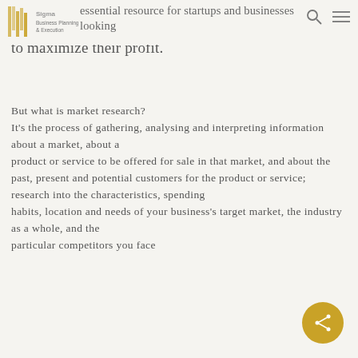Sigma Business Planning & Execution — essential resource for startups and businesses looking to maximize their profit.
But what is market research?
It's the process of gathering, analysing and interpreting information about a market, about a product or service to be offered for sale in that market, and about the past, present and potential customers for the product or service; research into the characteristics, spending habits, location and needs of your business's target market, the industry as a whole, and the particular competitors you face